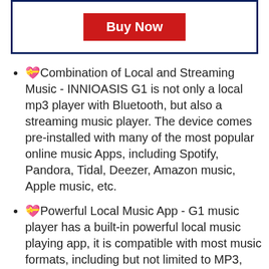[Figure (other): A dark navy blue bordered box containing a red 'Buy Now' button centered inside it]
💝Combination of Local and Streaming Music - INNIOASIS G1 is not only a local mp3 player with Bluetooth, but also a streaming music player. The device comes pre-installed with many of the most popular online music Apps, including Spotify, Pandora, Tidal, Deezer, Amazon music, Apple music, etc.
💝Powerful Local Music App - G1 music player has a built-in powerful local music playing app, it is compatible with most music formats, including but not limited to MP3, WAV, FLAC, APE,